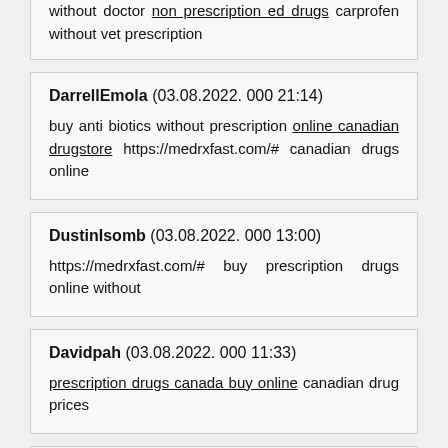without doctor non prescription ed drugs carprofen without vet prescription
DarrellEmola (03.08.2022. 000 21:14)
buy anti biotics without prescription online canadian drugstore https://medrxfast.com/# canadian drugs online
DustinIsomb (03.08.2022. 000 13:00)
https://medrxfast.com/# buy prescription drugs online without
Davidpah (03.08.2022. 000 11:33)
prescription drugs canada buy online canadian drug prices